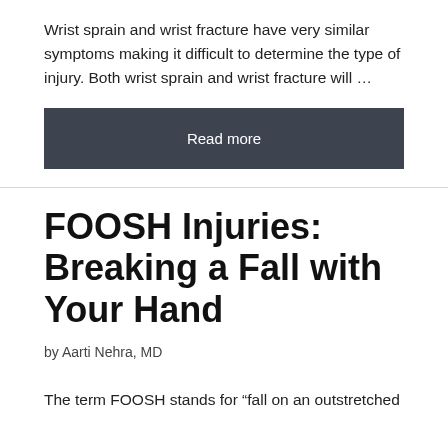Wrist sprain and wrist fracture have very similar symptoms making it difficult to determine the type of injury. Both wrist sprain and wrist fracture will …
Read more
FOOSH Injuries: Breaking a Fall with Your Hand
by Aarti Nehra, MD
The term FOOSH stands for “fall on an outstretched